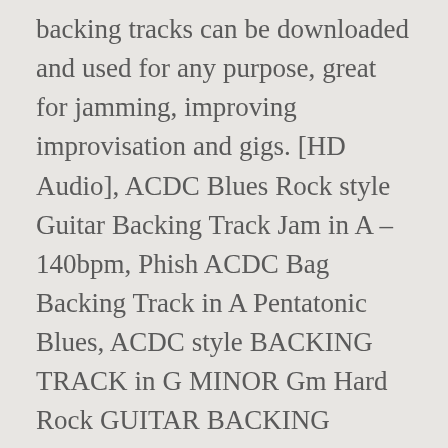backing tracks can be downloaded and used for any purpose, great for jamming, improving improvisation and gigs. [HD Audio], ACDC Blues Rock style Guitar Backing Track Jam in A – 140bpm, Phish ACDC Bag Backing Track in A Pentatonic Blues, ACDC style BACKING TRACK in G MINOR Gm Hard Rock GUITAR BACKING TRACK. These jam tracks consist mostly of rhythm guitar, bass, drums. Use them to play along with the guitar. Importance of Practicing with Rock Backing Tracks . Jimi Hendrix – Power To Love (3) Van Halen – Panama (17) Sick Puppies – All The Same. I have some private students working on 'Canon Rock' so here are some jam track